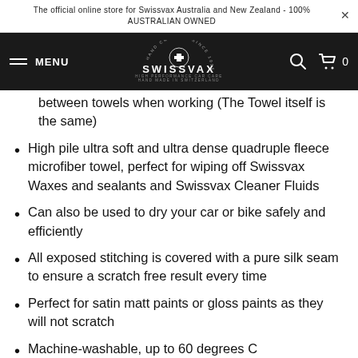The official online store for Swissvax Australia and New Zealand - 100% AUSTRALIAN OWNED
[Figure (logo): Swissvax logo with Swiss cross emblem, white text on black navigation bar with MENU, search and cart icons]
between towels when working (The Towel itself is the same)
High pile ultra soft and ultra dense quadruple fleece microfiber towel, perfect for wiping off Swissvax Waxes and sealants and Swissvax Cleaner Fluids
Can also be used to dry your car or bike safely and efficiently
All exposed stitching is covered with a pure silk seam to ensure a scratch free result every time
Perfect for satin matt paints or gloss paints as they will not scratch
Machine-washable, up to 60 degrees C[...] machine dryers too.
The must have cloth in your collection, the best cloth you